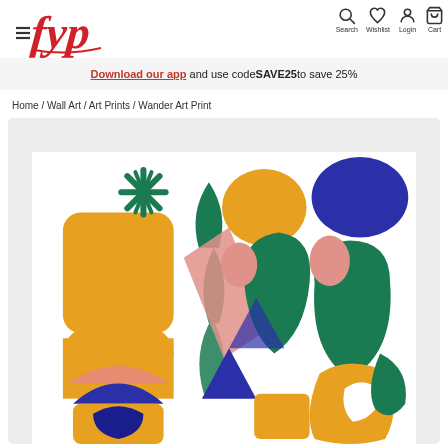[Figure (logo): FYP brand logo in red script with hamburger menu icon]
[Figure (infographic): Navigation icons: Search, Wishlist, Login, Cart]
Download our app and use code SAVE25 to save 25%
Home / Wall Art / Art Prints / Wander Art Print
[Figure (illustration): Wander Art Print — abstract colorful illustration with orange, green, navy, and pink geometric organic shapes depicting stylized figures]